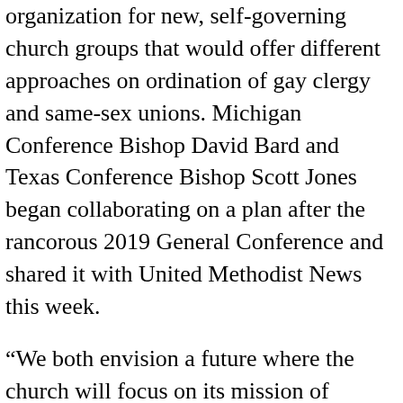organization for new, self-governing church groups that would offer different approaches on ordination of gay clergy and same-sex unions. Michigan Conference Bishop David Bard and Texas Conference Bishop Scott Jones began collaborating on a plan after the rancorous 2019 General Conference and shared it with United Methodist News this week.
“We both envision a future where the church will focus on its mission of making disciples and spend less time and energy debating issues of human sexuality, which means we need to bless different parts of The United Methodist Church to be about